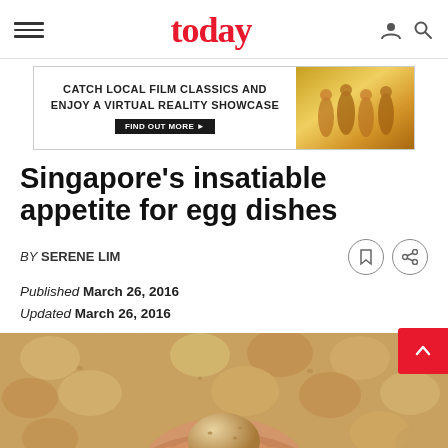today
[Figure (photo): Advertisement banner: 'CATCH LOCAL FILM CLASSICS AND ENJOY A VIRTUAL REALITY SHOWCASE' with a FIND OUT MORE button and image of performers in gold costumes]
Singapore's insatiable appetite for egg dishes
BY SERENE LIM
Published March 26, 2016
Updated March 26, 2016
[Figure (photo): Close-up photograph of a hand holding a brown egg surrounded by many eggs in soft focus]